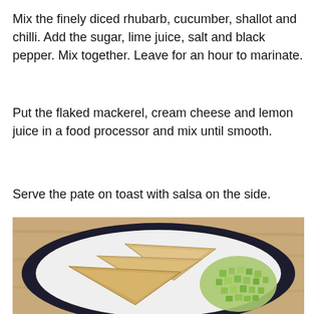Mix the finely diced rhubarb, cucumber, shallot and chilli. Add the sugar, lime juice, salt and black pepper. Mix together. Leave for an hour to marinate.
Put the flaked mackerel, cream cheese and lemon juice in a food processor and mix until smooth.
Serve the pate on toast with salsa on the side.
[Figure (photo): A white plate with dark rim on a wooden surface, containing three triangular pieces of toast spread with mackerel pate, alongside a serving of diced cucumber and rhubarb salsa.]